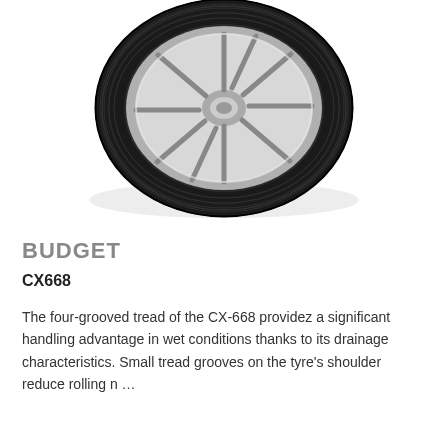[Figure (photo): A black car tyre mounted on a silver alloy wheel, viewed from a slight angle showing the tread pattern and sidewall detail.]
BUDGET
CX668
The four-grooved tread of the CX-668 providez a significant handling advantage in wet conditions thanks to its drainage characteristics. Small tread grooves on the tyre's shoulder reduce rolling n …